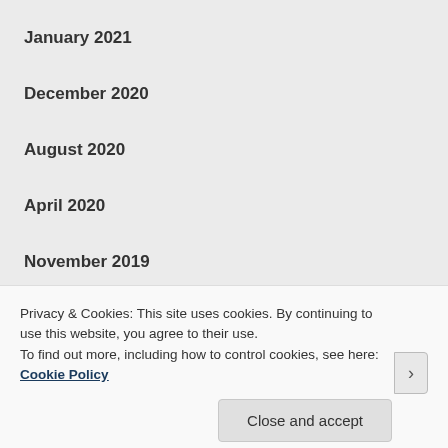January 2021
December 2020
August 2020
April 2020
November 2019
September 2019
August 2019
May 2019
Privacy & Cookies: This site uses cookies. By continuing to use this website, you agree to their use.
To find out more, including how to control cookies, see here: Cookie Policy
Close and accept